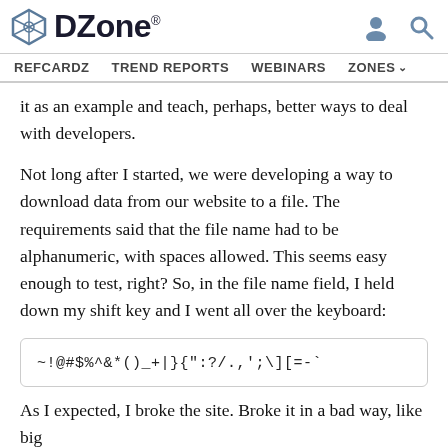DZone. REFCARDZ TREND REPORTS WEBINARS ZONES
it as an example and teach, perhaps, better ways to deal with developers.
Not long after I started, we were developing a way to download data from our website to a file. The requirements said that the file name had to be alphanumeric, with spaces allowed. This seems easy enough to test, right? So, in the file name field, I held down my shift key and I went all over the keyboard:
~!@#$%^&*()_+|}{":?/.,';\][=-`
As I expected, I broke the site. Broke it in a bad way, like big